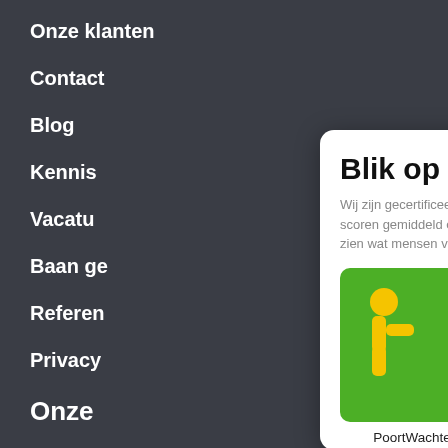Onze klanten
Contact
Blog
Kennis
Vacatu
Baan ge
Referen
Privacy
Onze
Baan ge
Geschoold
Blik op werk
Wij zijn gecertificeerd bij Blik op werk en scoren gemiddeld een 8,5! Wij laten graag zien wat mensen van onze diensten vinden.
[Figure (logo): Blik op Werk .NL badge showing a yellow figure logo and the text BLIK OP WERK .NL on green background, with a white box showing cijfer 8,5 and four grey stars]
PoortWachter Reïntegratie (PWR)